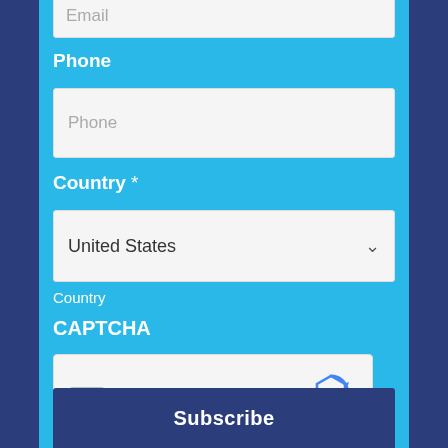Email
Phone
Phone
Country *
United States
Country
CAPTCHA
[Figure (other): reCAPTCHA widget with checkbox labeled I'm not a robot]
Subscribe